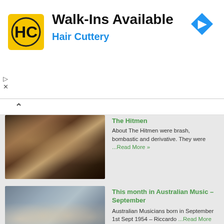[Figure (screenshot): Hair Cuttery advertisement banner with yellow HC logo, bold text 'Walk-Ins Available', blue subtitle 'Hair Cuttery', and blue diamond navigation arrow icon on the right]
[Figure (photo): Concert photo of The Hitmen band members, three young men at a rock gig, one playing guitar, dark performance setting]
The Hitmen
About The Hitmen were brash, bombastic and derivative. They were ...Read More »
[Figure (photo): Studio/promotional photo of four young men with feathered hair in 1970s style clothing, standing together against a grey background]
This month in Australian Music – September
Australian Musicians born in September 1st Sept 1954 – Riccardo ...Read More »